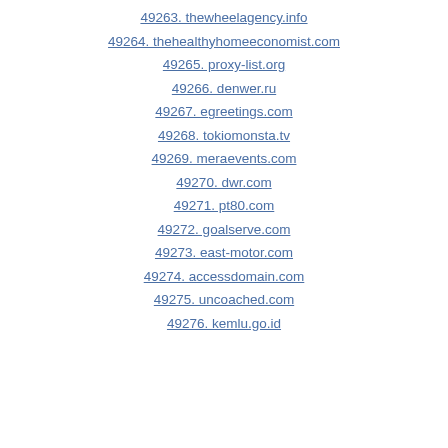49263. thewheelagency.info
49264. thehealthyhomeeconomist.com
49265. proxy-list.org
49266. denwer.ru
49267. egreetings.com
49268. tokiomonsta.tv
49269. meraevents.com
49270. dwr.com
49271. pt80.com
49272. goalserve.com
49273. east-motor.com
49274. accessdomain.com
49275. uncoached.com
49276. kemlu.go.id